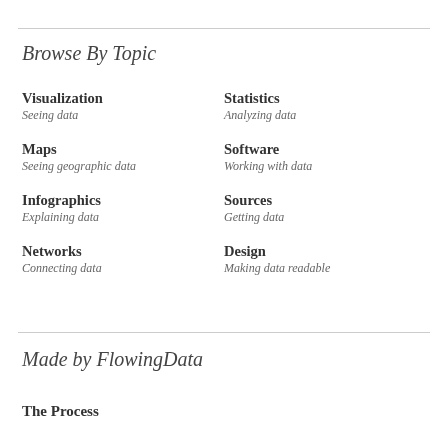Browse By Topic
Visualization — Seeing data
Statistics — Analyzing data
Maps — Seeing geographic data
Software — Working with data
Infographics — Explaining data
Sources — Getting data
Networks — Connecting data
Design — Making data readable
Made by FlowingData
The Process